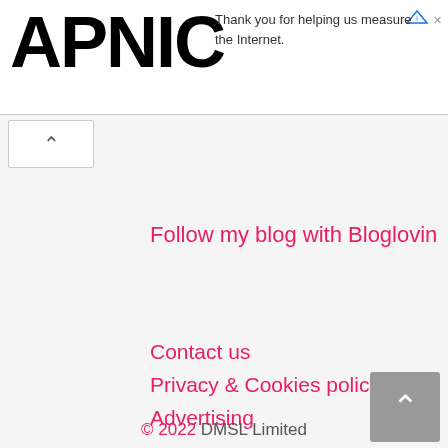APNIC — Thank you for helping us measure the Internet.
Follow my blog with Bloglovin
Contact us
Privacy & Cookies policy
Advertising
RSS
Sitemap
© 2022 DMSL Limited